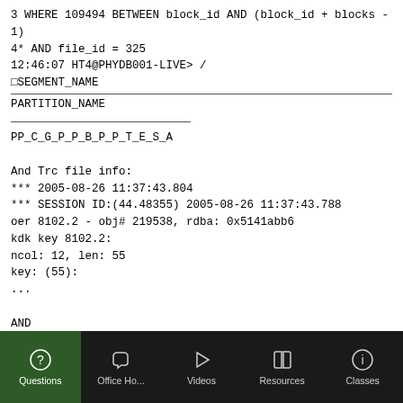3 WHERE 109494 BETWEEN block_id AND (block_id + blocks - 1)
4* AND file_id = 325
12:46:07 HT4@PHYDB001-LIVE> /
□SEGMENT_NAME
--------------------------------------------------------------------
PARTITION_NAME
------------------------------
PP_C_G_P_P_B_P_P_T_E_S_A

And Trc file info:
*** 2005-08-26 11:37:43.804
*** SESSION ID:(44.48355) 2005-08-26 11:37:43.788
oer 8102.2 - obj# 219538, rdba: 0x5141abb6
kdk key 8102.2:
ncol: 12, len: 55
key: (55):
...

AND

*** SESSION ID:(309.16146) 2005-08-26 11:38:59.288
*** 2005-08-26 11:38:59.288
ksedmp: internal or fatal error
ORA-00600: internal error code, arguments: [kcbget_24], [1], [11],
Questions | Office Ho... | Videos | Resources | Classes